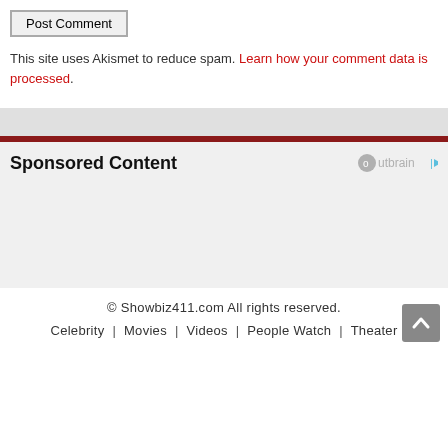Post Comment
This site uses Akismet to reduce spam. Learn how your comment data is processed.
Sponsored Content
© Showbiz411.com All rights reserved.
Celebrity | Movies | Videos | People Watch | Theater